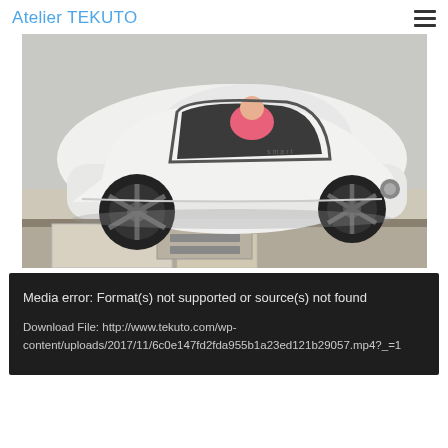Atelier TEKUTO
[Figure (photo): White futuristic compact electric car (Smart vision EQ) with an open gull-wing door, viewed from the side/rear, showing black spoke wheels and a person in pink sitting inside, parked on a city pavement.]
Media error: Format(s) not supported or source(s) not found
Download File: http://www.tekuto.com/wp-content/uploads/2017/11/6c0e147fd2fda955b1a23ed121b29057.mp4?_=1